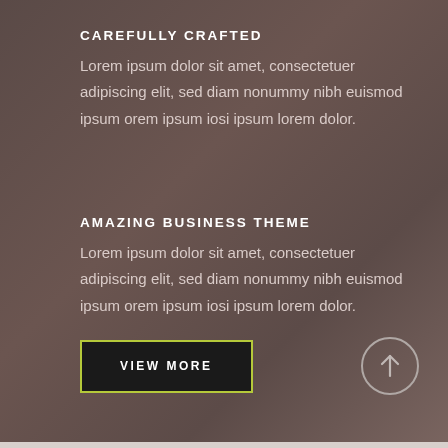CAREFULLY CRAFTED
Lorem ipsum dolor sit amet, consectetuer adipiscing elit, sed diam nonummy nibh euismod ipsum orem ipsum iosi ipsum lorem dolor.
AMAZING BUSINESS THEME
Lorem ipsum dolor sit amet, consectetuer adipiscing elit, sed diam nonummy nibh euismod ipsum orem ipsum iosi ipsum lorem dolor.
VIEW MORE
[Figure (illustration): A circular button with an upward arrow icon, outlined in light grey/white on a dark brown background, used as a scroll-to-top control.]